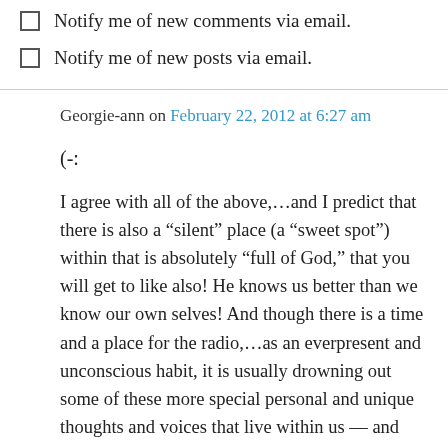Notify me of new comments via email.
Notify me of new posts via email.
Georgie-ann on February 22, 2012 at 6:27 am
(-:
I agree with all of the above,…and I predict that there is also a “silent” place (a “sweet spot”) within that is absolutely “full of God,” that you will get to like also! He knows us better than we know our own selves! And though there is a time and a place for the radio,…as an everpresent and unconscious habit, it is usually drowning out some of these more special personal and unique thoughts and voices that live within us — and